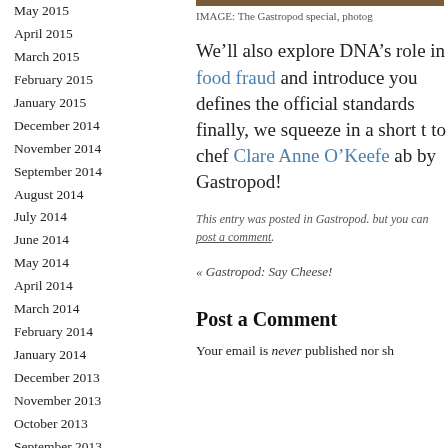May 2015
April 2015
March 2015
February 2015
January 2015
December 2014
November 2014
September 2014
August 2014
July 2014
June 2014
May 2014
April 2014
March 2014
February 2014
January 2014
December 2013
November 2013
October 2013
September 2013
IMAGE: The Gastropod special, photog
We’ll also explore DNA’s role in food fraud and introduce you defines the official standards finally, we squeeze in a short t to chef Clare Anne O’Keefe ab by Gastropod!
This entry was posted in Gastropod. but you can post a comment.
« Gastropod: Say Cheese!
Post a Comment
Your email is never published nor sh